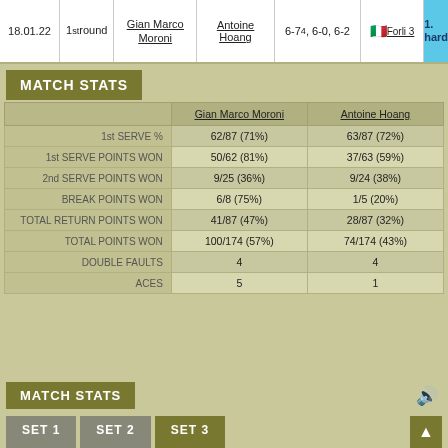|  | Date | Round | Player 1 | Player 2 | Score | Location | Surface |
| --- | --- | --- | --- | --- | --- | --- | --- |
| 18.01.22 | 1st round | Gian Marco Moroni | Antoine Hoang | 6-74, 6-0, 6-2 | Forli 3 | 1. hard |
MATCH STATS
|  | Gian Marco Moroni | Antoine Hoang |
| --- | --- | --- |
| 1st SERVE % | 62/87 (71%) | 63/87 (72%) |
| 1st SERVE POINTS WON | 50/62 (81%) | 37/63 (59%) |
| 2nd SERVE POINTS WON | 9/25 (36%) | 9/24 (38%) |
| BREAK POINTS WON | 6/8 (75%) | 1/5 (20%) |
| TOTAL RETURN POINTS WON | 41/87 (47%) | 28/87 (32%) |
| TOTAL POINTS WON | 100/174 (57%) | 74/174 (43%) |
| DOUBLE FAULTS | 4 | 4 |
| ACES | 5 | 1 |
MATCH STATS
SET 1  SET 2  SET 3